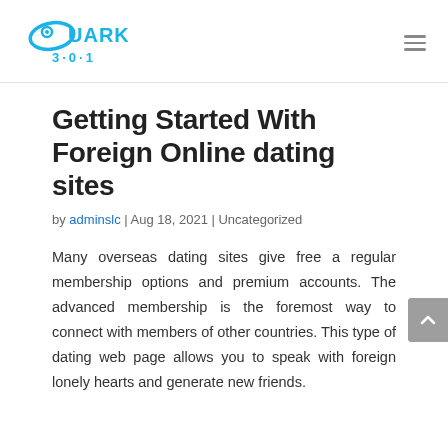QUARK 3·0·1 [logo and navigation]
Getting Started With Foreign Online dating sites
by adminslc | Aug 18, 2021 | Uncategorized
Many overseas dating sites give free a regular membership options and premium accounts. The advanced membership is the foremost way to connect with members of other countries. This type of dating web page allows you to speak with foreign lonely hearts and generate new friends.